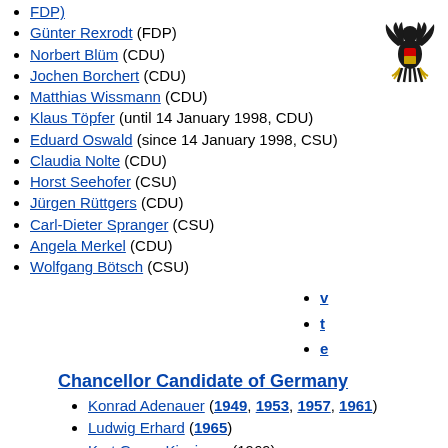FDP)
Günter Rexrodt (FDP)
Norbert Blüm (CDU)
Jochen Borchert (CDU)
Matthias Wissmann (CDU)
Klaus Töpfer (until 14 January 1998, CDU)
Eduard Oswald (since 14 January 1998, CSU)
Claudia Nolte (CDU)
Horst Seehofer (CSU)
Jürgen Rüttgers (CDU)
Carl-Dieter Spranger (CSU)
Angela Merkel (CDU)
Wolfgang Bötsch (CSU)
v
t
e
Chancellor Candidate of Germany
Konrad Adenauer (1949, 1953, 1957, 1961)
Ludwig Erhard (1965)
Kurt Georg Kiesinger (1969)
Rainer Barzel (1972)
Helmut Kohl (1976, 1983, 1987, 1990, 1994, 1998)
Franz Josef Strauß (1980)